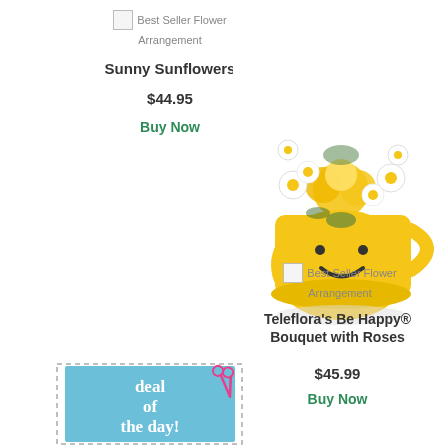[Figure (photo): Broken image placeholder icon for Best Seller Flower Arrangement]
Best Seller Flower Arrangement
Sunny Sunflowers
$44.95
Buy Now
[Figure (photo): Photo of yellow flowers and white daisies in a yellow smiley face mug vase]
[Figure (photo): Broken image placeholder icon for Best Seller Flower Arrangement]
Best Seller Flower Arrangement
Teleflora's Be Happy® Bouquet with Roses
$45.99
Buy Now
[Figure (illustration): Deal of the day coupon graphic with scissors, dashed border, blue background and white text reading 'deal of the day!']